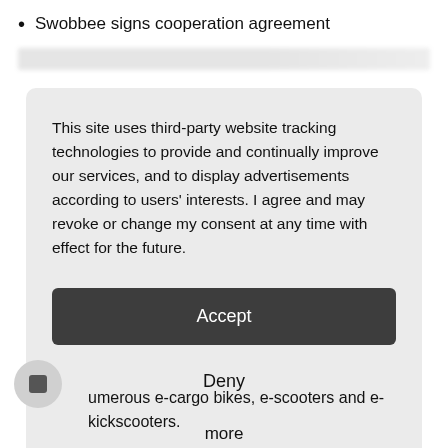Swobbee signs cooperation agreement
This site uses third-party website tracking technologies to provide and continually improve our services, and to display advertisements according to users' interests. I agree and may revoke or change my consent at any time with effect for the future.
Accept
Deny
more
Powered by usercentrics &
umerous e-cargo bikes, e-scooters and e-kickscooters.